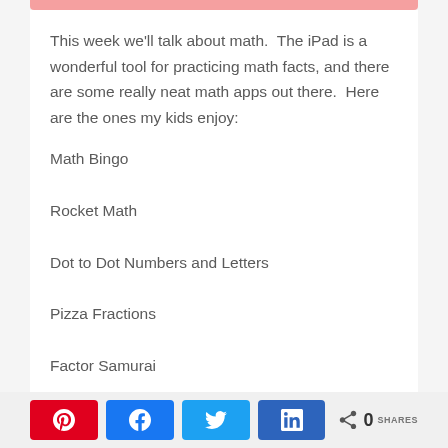This week we'll talk about math.  The iPad is a wonderful tool for practicing math facts, and there are some really neat math apps out there.  Here are the ones my kids enjoy:
Math Bingo
Rocket Math
Dot to Dot Numbers and Letters
Pizza Fractions
Factor Samurai